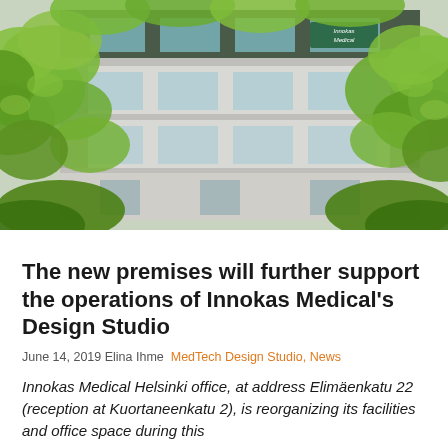[Figure (photo): Photograph of the Innokas Medical building exterior, taken through green leafy tree branches in the foreground. The building has a modern facade with large windows and an Innokas Medical logo/sign visible on the upper floor.]
The new premises will further support the operations of Innokas Medical's Design Studio
June 14, 2019 Elina Ihme  MedTech Design Studio, News
Innokas Medical Helsinki office, at address Elimäenkatu 22 (reception at Kuortaneenkatu 2), is reorganizing its facilities and office space during this